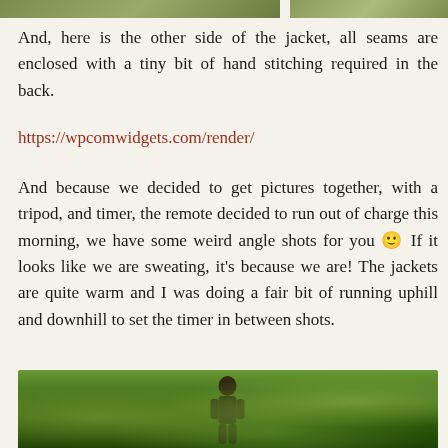[Figure (photo): Top strip showing partial outdoor/nature photo]
And, here is the other side of the jacket, all seams are enclosed with a tiny bit of hand stitching required in the back.
https://wpcomwidgets.com/render/
And because we decided to get pictures together, with a tripod, and timer, the remote decided to run out of charge this morning, we have some weird angle shots for you 🙂 If it looks like we are sweating, it's because we are! The jackets are quite warm and I was doing a fair bit of running uphill and downhill to set the timer in between shots.
[Figure (photo): Bottom outdoor photo showing person in jacket among green foliage]